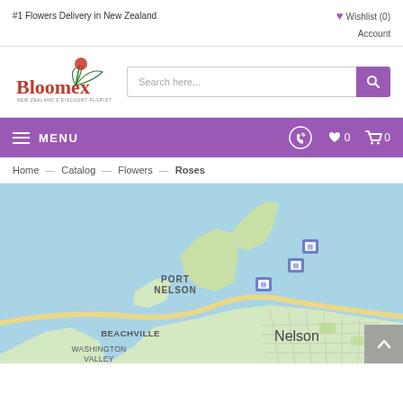#1 Flowers Delivery in New Zealand
Wishlist (0)
Account
[Figure (logo): Bloomex logo with rose illustration and tagline NEW ZEALAND'S DISCOUNT FLORIST]
Search here...
MENU
Home — Catalog — Flowers — Roses
[Figure (map): Google Maps view showing Nelson, New Zealand area including Port Nelson, Beachville, Washington Valley, with bus stop icons and surrounding waterways]